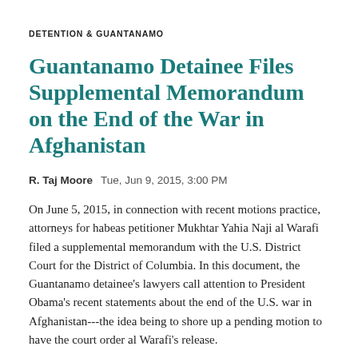DETENTION & GUANTANAMO
Guantanamo Detainee Files Supplemental Memorandum on the End of the War in Afghanistan
R. Taj Moore   Tue, Jun 9, 2015, 3:00 PM
On June 5, 2015, in connection with recent motions practice, attorneys for habeas petitioner Mukhtar Yahia Naji al Warafi filed a supplemental memorandum with the U.S. District Court for the District of Columbia. In this document, the Guantanamo detainee’s lawyers call attention to President Obama’s recent statements about the end of the U.S. war in Afghanistan---the idea being to shore up a pending motion to have the court order al Warafi’s release.
READ MORE